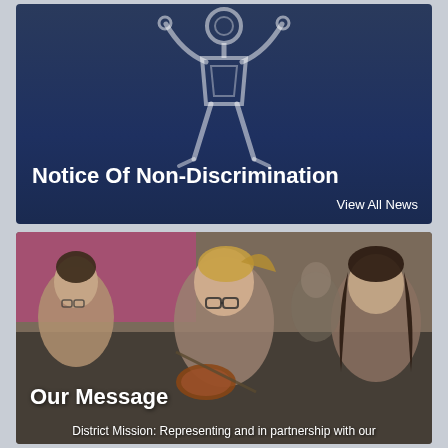[Figure (illustration): White outline icon of a person with arms raised on a dark navy blue gradient background, representing a non-discrimination notice]
Notice Of Non-Discrimination
View All News
[Figure (photo): Photo of young female students playing violins and string instruments, focused on a girl with glasses and a ponytail in the foreground]
Our Message
District Mission: Representing and in partnership with our